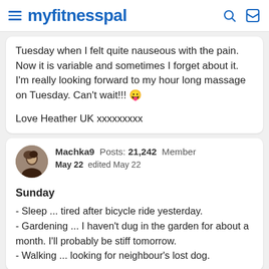myfitnesspal
Tuesday when I felt quite nauseous with the pain. Now it is variable and sometimes I forget about it. I'm really looking forward to my hour long massage on Tuesday. Can't wait!!!

Love Heather UK xxxxxxxxx
Machka9  Posts: 21,242  Member
May 22  edited May 22
Sunday
- Sleep ... tired after bicycle ride yesterday.
- Gardening ... I haven't dug in the garden for about a month. I'll probably be stiff tomorrow.
- Walking ... looking for neighbour's lost dog.